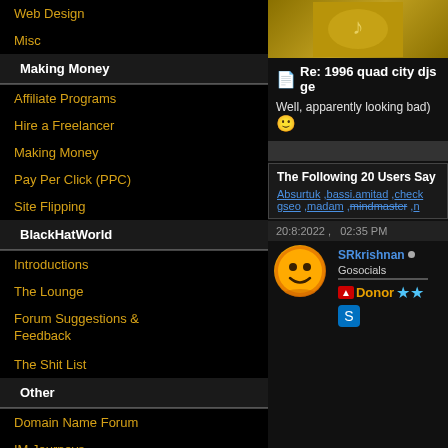Web Design
Misc
Making Money
Affiliate Programs
Hire a Freelancer
Making Money
Pay Per Click (PPC)
Site Flipping
BlackHatWorld
Introductions
The Lounge
Forum Suggestions & Feedback
The Shit List
Other
Domain Name Forum
IM Journeys
Web Hosting
[Figure (screenshot): Forum post image thumbnail]
Re: 1996 quad city djs ge
Well, apparently looking bad)
The Following 20 Users Say
Absurtuk ,bassi.amitad ,check gseo ,madam ,mindmaster ,n
20:8:2022 ,   02:35 PM
SRkrishnan
Gosocials
Donor